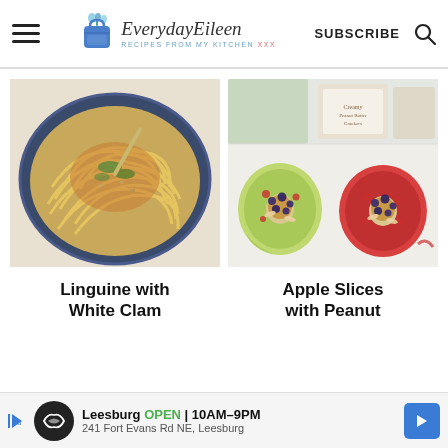EverydayEileen — RECIPES FROM MY KITCHEN | SUBSCRIBE
[Figure (photo): Bowl of linguine pasta with white clam sauce, garnished with herbs and nuts]
[Figure (photo): Apple slices topped with peanut butter, dried cranberries, blueberries and sliced almonds, with a box of crackers in background]
Linguine with White Clam
Apple Slices with Peanut
[Figure (other): Advertisement banner: Leesburg OPEN 10AM–9PM, 241 Fort Evans Rd NE, Leesburg]